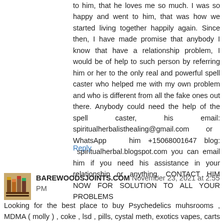to him, that he loves me so much. I was so happy and went to him, that was how we started living together happily again. Since then, I have made promise that anybody I know that have a relationship problem, I would be of help to such person by referring him or her to the only real and powerful spell caster who helped me with my own problem and who is different from all the fake ones out there. Anybody could need the help of the spell caster, his email: spiritualherbalisthealing@gmail.com or WhatsApp him +15068001647 blog: spiritualherbal.blogspot.com you can email him if you need his assistance in your relationship or anything. CONTACT HIM NOW FOR SOLUTION TO ALL YOUR PROBLEMS
Reply
[Figure (photo): Small avatar image showing colorful bottles/jars in brown tones]
BAREWOODSJOINTS.COM November 23, 2021 at 2:55 PM
Looking for the best place to buy Psychedelics muhsrooms , MDMA ( molly ) , coke , lsd , pills, cystal meth, exotics vapes, carts and more others online at natural meds online